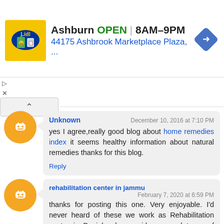[Figure (screenshot): Lidl store advertisement banner showing Ashburn store, OPEN, 8AM-9PM, 44175 Ashbrook Marketplace Plaza with navigation icon]
▷
✕
^
Unknown
December 10, 2016 at 7:10 PM
yes I agree,really good blog about home remedies index it seems healthy information about natural remedies thanks for this blog.
Reply
rehabilitation center in jammu
February 7, 2020 at 6:59 PM
thanks for posting this one. Very enjoyable. I'd never heard of these we work as Rehabilitation centre in Punjab who provides several types of therapies and facilities